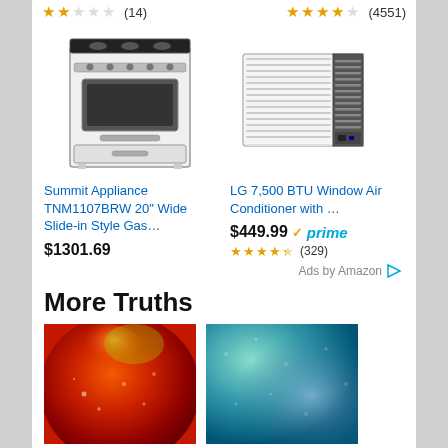★★☆☆☆ (14)  ★★★★☆ (4551)
[Figure (photo): Product photo of Summit Appliance gas stove, white, slide-in style]
[Figure (photo): Product photo of LG window air conditioner, white]
Summit Appliance TNM1107BRW 20" Wide Slide-in Style Gas…
$1301.69
LG 7,500 BTU Window Air Conditioner with …
$449.99 ✓prime
★★★★½ (329)
Ads by Amazon ▷
More Truths
[Figure (photo): Close-up photo of a red apple or fruit with water droplets]
[Figure (photo): Abstract blue-green textured image]
Operation
Dismantling